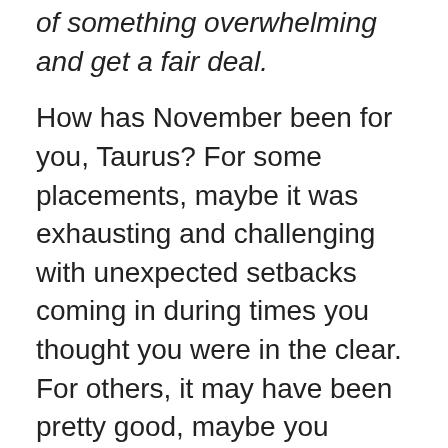of something overwhelming and get a fair deal.
How has November been for you, Taurus? For some placements, maybe it was exhausting and challenging with unexpected setbacks coming in during times you thought you were in the clear. For others, it may have been pretty good, maybe you expected more, but at the same time, you're grateful it didn't come with much. Now, as you transition from November to December, the themes of faith and change are present, regardless of how November went for you, you have been waiting for something big and have yet to receive it. December is dependent all upon you and the work you put in, let your faith guide you and don't gaslight yourself into thinking your dreams aren't achievable. Whether you're dreaming in your sleep or day dreaming about your future, spiritually, you need to affirm that what you